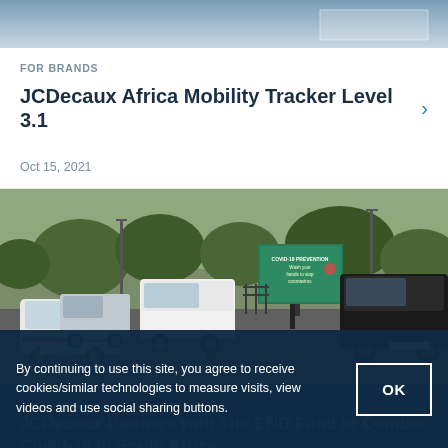[Figure (photo): Partial top of a photo, light blue-grey gradient background with a faint white rectangle overlay on the right side]
FOR BRANDS
JCDecaux Africa Mobility Tracker Level 3.1 >
Oct 15, 2021
[Figure (photo): Road scene in South Africa showing cars including a white SUV, van, and black pickup truck on a highway, with trees in background and a green billboard advertising COVID-19 handwashing]
FOR BRANDS
JCDecaux Partners with The END Fund to Combat Covid-19 in South Africa >
By continuing to use this site, you agree to receive cookies/similar technologies to measure visits, view videos and use social sharing buttons.